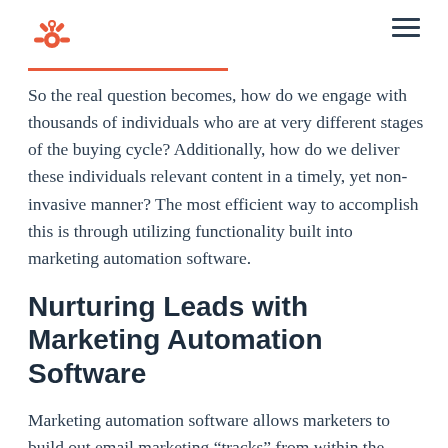HubSpot logo and navigation
So the real question becomes, how do we engage with thousands of individuals who are at very different stages of the buying cycle? Additionally, how do we deliver these individuals relevant content in a timely, yet non-invasive manner? The most efficient way to accomplish this is through utilizing functionality built into marketing automation software.
Nurturing Leads with Marketing Automation Software
Marketing automation software allows marketers to build out email marketing “tracks” from within the software. A marketing track is a collection of emails